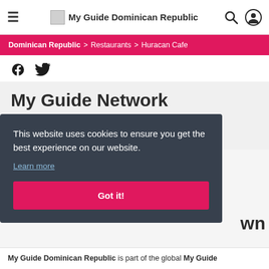My Guide Dominican Republic
Dominican Republic > Restaurants > Huracan Cafe
[Figure (screenshot): Social media icons: Facebook and Twitter]
My Guide Network
About Us
This website uses cookies to ensure you get the best experience on our website. Learn more
Got it!
My Guide Dominican Republic is part of the global My Guide